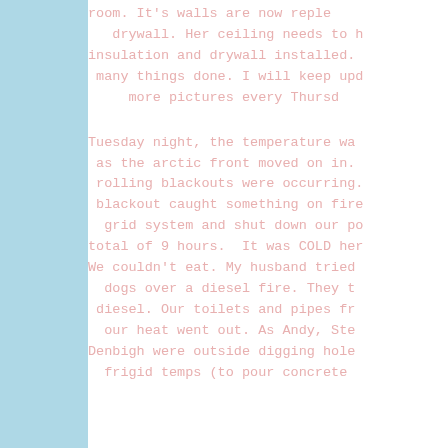room. It's walls are now replec... drywall. Her ceiling needs to h... insulation and drywall installed... many things done. I will keep upd... more pictures every Thursd...
Tuesday night, the temperature wa... as the arctic front moved on in... rolling blackouts were occurring... blackout caught something on fire... grid system and shut down our po... total of 9 hours. It was COLD her... We couldn't eat. My husband tried... dogs over a diesel fire. They t... diesel. Our toilets and pipes fr... our heat went out. As Andy, Ste... Denbigh were outside digging hol... frigid temps (to pour concrete...